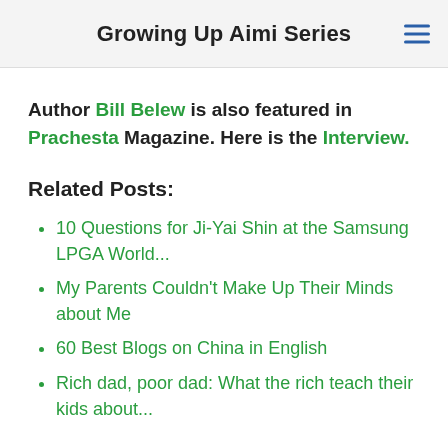Growing Up Aimi Series
Author Bill Belew is also featured in Prachesta Magazine. Here is the Interview.
Related Posts:
10 Questions for Ji-Yai Shin at the Samsung LPGA World...
My Parents Couldn't Make Up Their Minds about Me
60 Best Blogs on China in English
Rich dad, poor dad: What the rich teach their kids about...